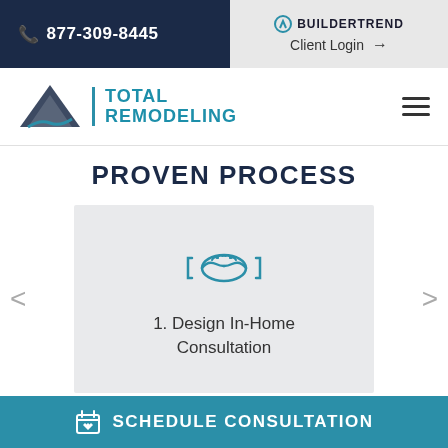📞 877-309-8445
BUILDERTREND | Client Login →
[Figure (logo): Total Remodeling logo with mountain/roof triangle icon and teal text]
PROVEN PROCESS
[Figure (illustration): Handshake icon in teal outline style, representing Design In-Home Consultation step 1]
1. Design In-Home Consultation
SCHEDULE CONSULTATION